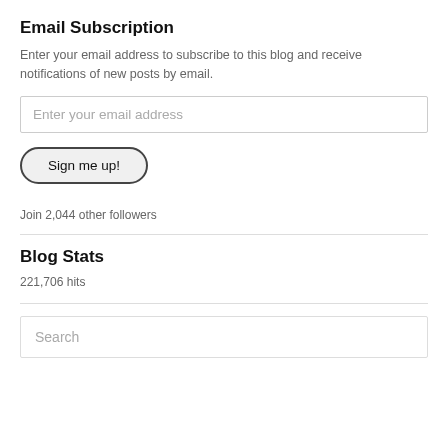Email Subscription
Enter your email address to subscribe to this blog and receive notifications of new posts by email.
[Figure (other): Email address input field with placeholder text 'Enter your email address']
[Figure (other): Button labeled 'Sign me up!']
Join 2,044 other followers
Blog Stats
221,706 hits
[Figure (other): Search input field with placeholder text 'Search']